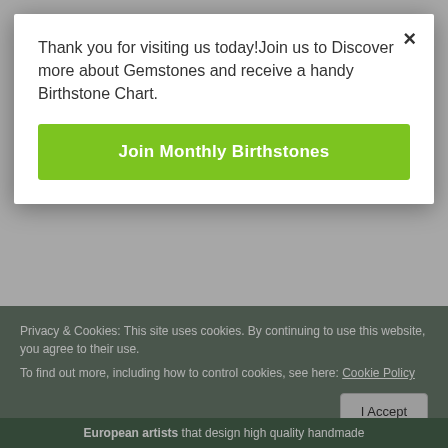Thank you for visiting us today!Join us to Discover more about Gemstones and receive a handy Birthstone Chart.
Join Monthly Birthstones
[Figure (illustration): Four gemstone flower brooches for SEP, OCT, NOV, DEC birthstones]
SEP   OCT   NOV   DEC
Privacy & Cookies: This site uses cookies. By continuing to use this website, you agree to their use.
To find out more, including how to control cookies, see here: Cookie Policy
I Accept
European artists that design high quality handmade